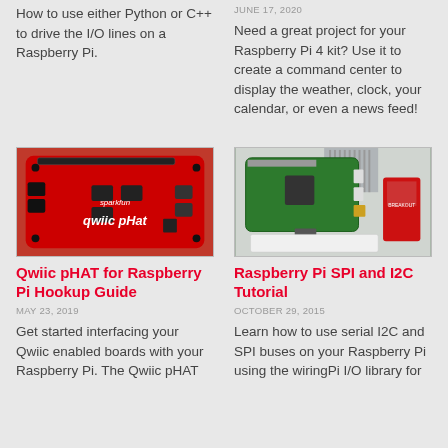How to use either Python or C++ to drive the I/O lines on a Raspberry Pi.
JUNE 17, 2020
Need a great project for your Raspberry Pi 4 kit? Use it to create a command center to display the weather, clock, your calendar, or even a news feed!
[Figure (photo): Qwiic pHAT red circuit board for Raspberry Pi]
[Figure (photo): Raspberry Pi with ribbon cable and breakout board]
Qwiic pHAT for Raspberry Pi Hookup Guide
MAY 23, 2019
Raspberry Pi SPI and I2C Tutorial
OCTOBER 29, 2015
Get started interfacing your Qwiic enabled boards with your Raspberry Pi. The Qwiic pHAT
Learn how to use serial I2C and SPI buses on your Raspberry Pi using the wiringPi I/O library for